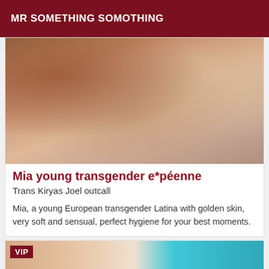MR SOMETHING SOMOTHING
[Figure (photo): Close-up photo of a person's body with warm skin tones]
Mia young transgender e*péenne
Trans Kiryas Joel outcall
Mia, a young European transgender Latina with golden skin, very soft and sensual, perfect hygiene for your best moments.
[Figure (photo): Partial photo with VIP badge, showing skin tones and teal/blue background element]